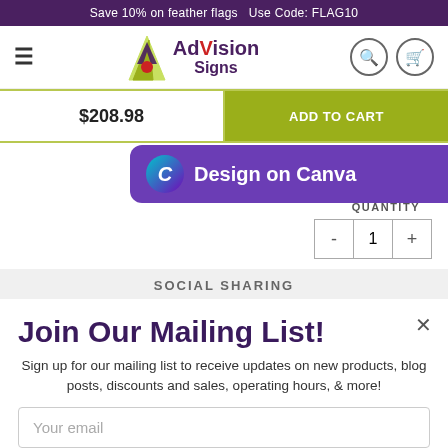Save 10% on feather flags   Use Code: FLAG10
[Figure (logo): AdVision Signs logo with stylized A icon and purple/red text]
$208.98
ADD TO CART
[Figure (screenshot): Design on Canva purple button with Canva logo icon]
QUANTITY
- 1 +
SOCIAL SHARING
Join Our Mailing List!
Sign up for our mailing list to receive updates on new products, blog posts, discounts and sales, operating hours, & more!
Your email
SIGN UP
Request a Quote